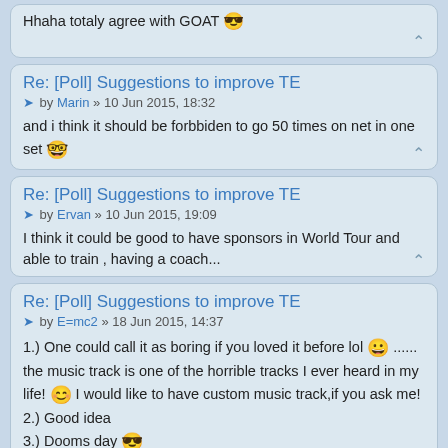Hhaha totaly agree with GOAT 😎
Re: [Poll] Suggestions to improve TE
by Marin » 10 Jun 2015, 18:32
and i think it should be forbbiden to go 50 times on net in one set 😲
Re: [Poll] Suggestions to improve TE
by Ervan » 10 Jun 2015, 19:09
I think it could be good to have sponsors in World Tour and able to train , having a coach...
Re: [Poll] Suggestions to improve TE
by E=mc2 » 18 Jun 2015, 14:37
1.) One could call it as boring if you loved it before lol 😀 ...... the music track is one of the horrible tracks I ever heard in my life! 😊 I would like to have custom music track,if you ask me!
2.) Good idea
3.) Dooms day 😎